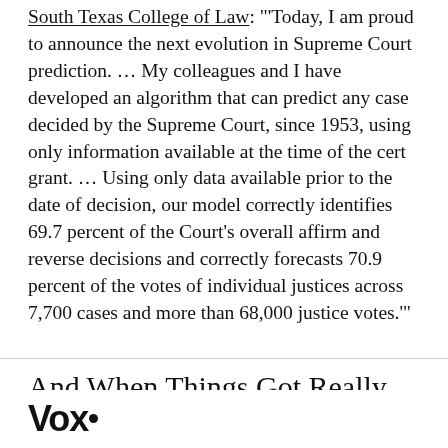South Texas College of Law: "'Today, I am proud to announce the next evolution in Supreme Court prediction. … My colleagues and I have developed an algorithm that can predict any case decided by the Supreme Court, since 1953, using only information available at the time of the cert grant. … Using only data available prior to the date of decision, our model correctly identifies 69.7 percent of the Court's overall affirm and reverse decisions and correctly forecasts 70.9 percent of the votes of individual justices across 7,700 cases and more than 68,000 justice votes.'"
And When Things Got Really Serious,
Vox